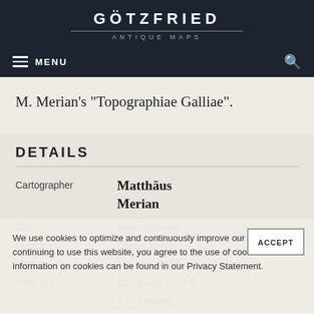GÖTZFRIED ANTIQUE MAPS
M. Merian's "Topographiae Galliae".
DETAILS
| Field | Value |
| --- | --- |
| Cartographer | Matthäus Merian |
| Title | Mont St. Michel |
| Publisher | Caspar Merian |
| Year | Frankfurt, 1657 |
| Plate size | 12.2 x 31.5 cm (4.8 x 12.2 inches) |
We use cookies to optimize and continuously improve our website. By continuing to use this website, you agree to the use of cookies. Further information on cookies can be found in our Privacy Statement.